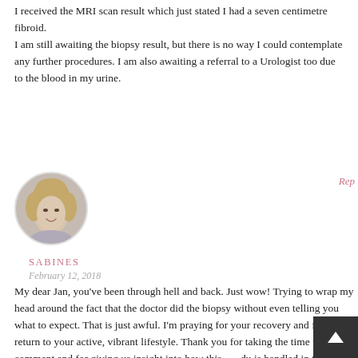I received the MRI scan result which just stated I had a seven centimetre fibroid. I am still awaiting the biopsy result, but there is no way I could contemplate any further procedures. I am also awaiting a referral to a Urologist too due to the blood in my urine.
[Figure (photo): Circular avatar photo of a blond woman smiling, shown from shoulders up]
SABINES
February 12, 2018
My dear Jan, you've been through hell and back. Just wow! Trying to wrap my head around the fact that the doctor did the biopsy without even telling you what to expect. That is just awful. I'm praying for your recovery and for you to return to your active, vibrant lifestyle. Thank you for taking the time to comment and for giving us insight into how this procedure is handled in the UK. God bless you!